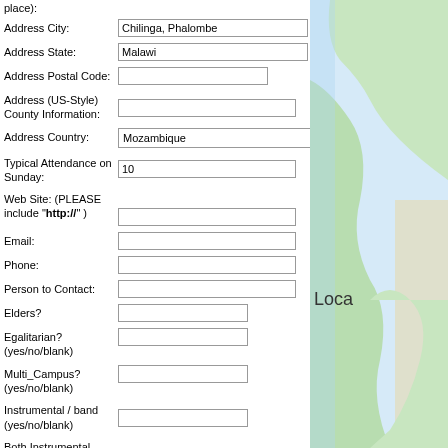place):
Address City: Chilinga, Phalombe
Address State: Malawi
Address Postal Code: (empty)
Address (US-Style) County Information: (empty)
Address Country: Mozambique
Typical Attendance on Sunday: 10
Web Site: (PLEASE include "http://") (empty)
Email: (empty)
Phone: (empty)
Person to Contact: (empty)
Elders? (empty)
Egalitarian? (yes/no/blank) (empty)
Multi_Campus? (yes/no/blank) (empty)
Instrumental / band (yes/no/blank) (empty)
Both Instrumental AND Acappella (yes/no/blank) (empty)
[Figure (map): Partial map visible on right side showing geographic region, with 'Loca' text label partially visible]